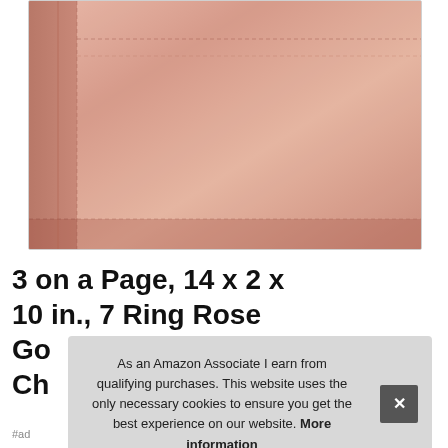[Figure (photo): Close-up photo of a rose gold / blush pink leather binder or portfolio case with stitched details, viewed from the side/corner angle showing the spine and front panel]
3 on a Page, 14 x 2 x 10 in., 7 Ring Rose Go Ch
As an Amazon Associate I earn from qualifying purchases. This website uses the only necessary cookies to ensure you get the best experience on our website. More information
#ad